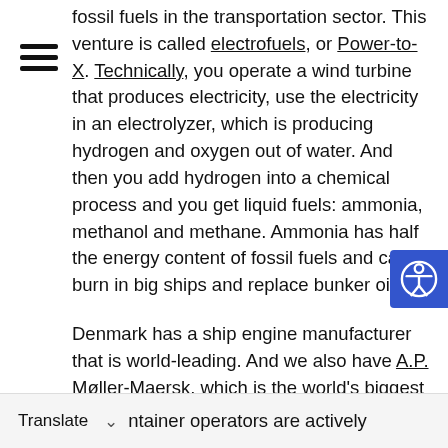fossil fuels in the transportation sector. This venture is called electrofuels, or Power-to-X. Technically, you operate a wind turbine that produces electricity, use the electricity in an electrolyzer, which is producing hydrogen and oxygen out of water. And then you add hydrogen into a chemical process and you get liquid fuels: ammonia, methanol and methane. Ammonia has half the energy content of fossil fuels and can burn in big ships and replace bunker oil.
Denmark has a ship engine manufacturer that is world-leading. And we also have A.P. Møller-Maersk, which is the world's biggest container fleet. And they have a strong interest in becoming green. So industry actors on wind power, ship engines, container operators are actively
Translate ∨ ntainer operators are actively